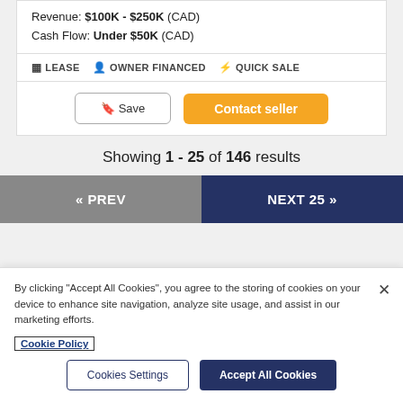Revenue: $100K - $250K (CAD)
Cash Flow: Under $50K (CAD)
LEASE  OWNER FINANCED  QUICK SALE
Save  Contact seller
Showing 1 - 25 of 146 results
« PREV  NEXT 25 »
By clicking "Accept All Cookies", you agree to the storing of cookies on your device to enhance site navigation, analyze site usage, and assist in our marketing efforts. Cookie Policy
Cookies Settings  Accept All Cookies